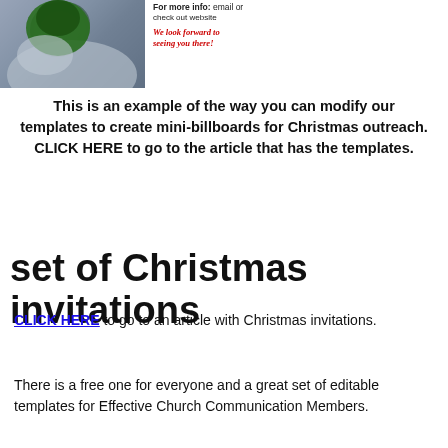[Figure (photo): Partial photo of a stuffed animal or dog wearing a green knit hat/scarf, with a blue background. Only the top portion is visible.]
For more info: email or check out website
We look forward to seeing you there!
This is an example of the way you can modify our templates to create mini-billboards for Christmas outreach. CLICK HERE to go to the article that has the templates.
set of Christmas invitations
CLICK HERE to go to an article with Christmas invitations.
There is a free one for everyone and a great set of editable templates for Effective Church Communication Members.